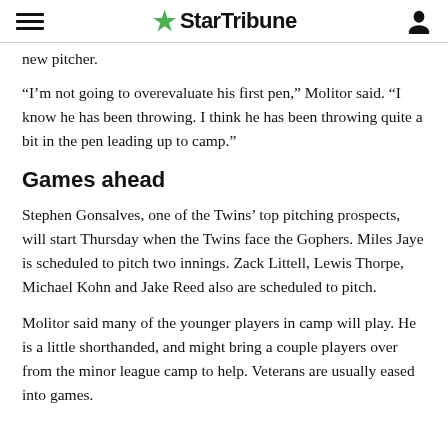StarTribune
new pitcher.
“I’m not going to overevaluate his first pen,” Molitor said. “I know he has been throwing. I think he has been throwing quite a bit in the pen leading up to camp.”
Games ahead
Stephen Gonsalves, one of the Twins’ top pitching prospects, will start Thursday when the Twins face the Gophers. Miles Jaye is scheduled to pitch two innings. Zack Littell, Lewis Thorpe, Michael Kohn and Jake Reed also are scheduled to pitch.
Molitor said many of the younger players in camp will play. He is a little shorthanded, and might bring a couple players over from the minor league camp to help. Veterans are usually eased into games.